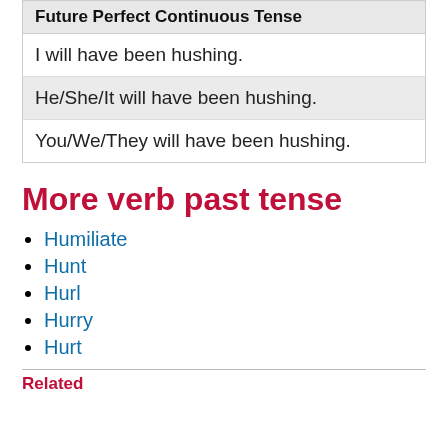Future Perfect Continuous Tense
I will have been hushing.
He/She/It will have been hushing.
You/We/They will have been hushing.
More verb past tense
Humiliate
Hunt
Hurl
Hurry
Hurt
Related